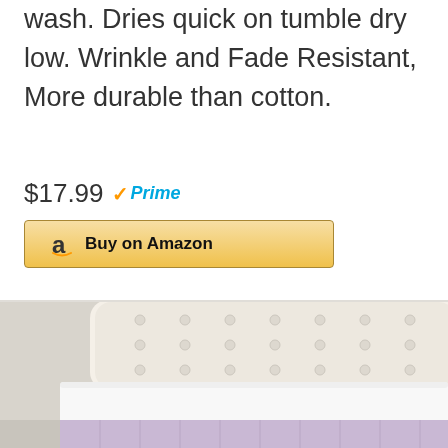wash. Dries quick on tumble dry low. Wrinkle and Fade Resistant, More durable than cotton.
$17.99 Prime
Buy on Amazon
[Figure (photo): A white mattress protector on a bed with a tufted upholstered headboard and lavender bed skirt, with a nightstand visible in the background.]